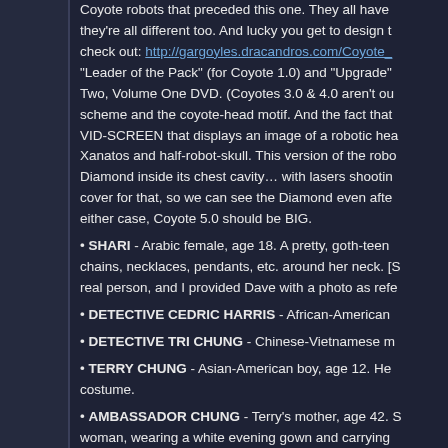Coyote robots that preceded this one. They all have they're all different too. And lucky you get to design t check out: http://gargoyles.dracandros.com/Coyote_ "Leader of the Pack" (for Coyote 1.0) and "Upgrade" Two, Volume One DVD. (Coyotes 3.0 & 4.0 aren't ou scheme and the coyote-head motif. And the fact that VID-SCREEN that displays an image of a robotic hea Xanatos and half-robot-skull. This version of the robo Diamond inside its chest cavity… with lasers shootin cover for that, so we can see the Diamond even afte either case, Coyote 5.0 should be BIG.
SHARI - Arabic female, age 18. A pretty, goth-teen chains, necklaces, pendants, etc. around her neck. [S real person, and I provided Dave with a photo as refe
DETECTIVE CEDRIC HARRIS - African-American
DETECTIVE TRI CHUNG - Chinese-Vietnamese m
TERRY CHUNG - Asian-American boy, age 12. He costume.
AMBASSADOR CHUNG - Terry's mother, age 42. S woman, wearing a white evening gown and carrying
QUINCY HEMINGS - H...